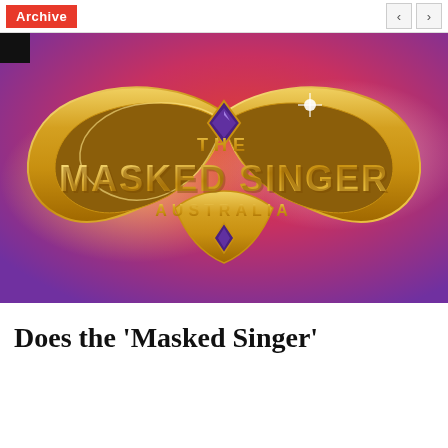Archive
[Figure (photo): The Masked Singer Australia logo — gold metallic butterfly-mask shape with the text THE MASKED SINGER AUSTRALIA on a vivid red-to-purple gradient background]
Does the 'Masked Singer'